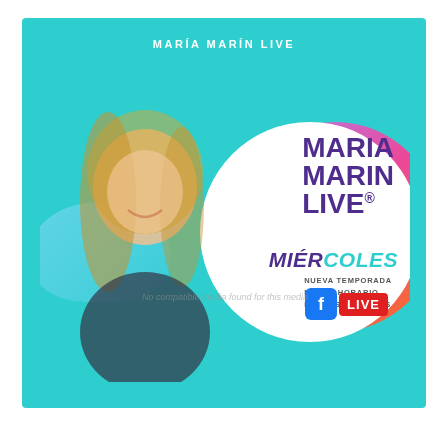MARÍA MARÍN LIVE
[Figure (infographic): Promotional graphic for Maria Marin Live show on Facebook Live on Wednesdays (Miércoles). Features a smiling blonde woman on the left, a white circle with show title 'MARIA MARIN LIVE' in purple text, 'MIÉRCOLES' in teal/purple, sub-text 'NUEVA TEMPORADA / NUEVO HORARIO / NUEVOS INVITADOS', and a Facebook LIVE badge. Teal/cyan background with gradient accents. Watermark overlay reading 'No compatible media found for this media'.]